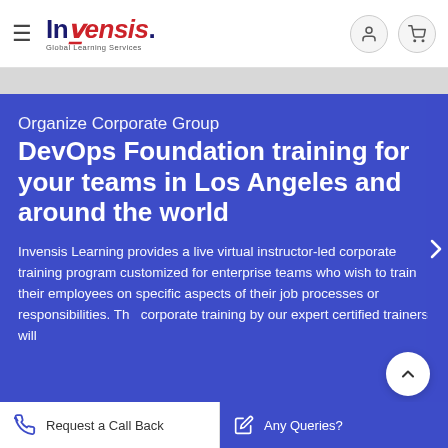Invensis Global Learning Services
Organize Corporate Group DevOps Foundation training for your teams in Los Angeles and around the world
Invensis Learning provides a live virtual instructor-led corporate training program customized for enterprise teams who wish to train their employees on specific aspects of their job processes or responsibilities. The corporate training by our expert certified trainers will
Request a Call Back | Any Queries?